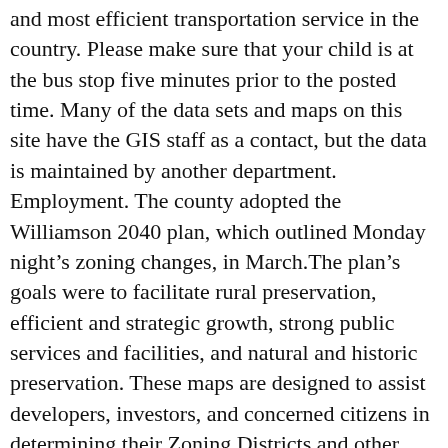and most efficient transportation service in the country. Please make sure that your child is at the bus stop five minutes prior to the posted time. Many of the data sets and maps on this site have the GIS staff as a contact, but the data is maintained by another department. Employment. The county adopted the Williamson 2040 plan, which outlined Monday night's zoning changes, in March.The plan's goals were to facilitate rural preservation, efficient and strategic growth, strong public services and facilities, and natural and historic preservation. These maps are designed to assist developers, investors, and concerned citizens in determining their Zoning Districts and other basic information related to an individual parcel. SUBSCRIBE NOW Only $3 for 3 â✉¦ Schools. Parks & Recreation. It is the goal to have bus assignment arranged